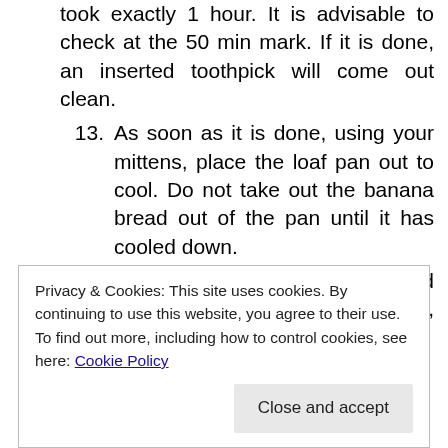took exactly 1 hour. It is advisable to check at the 50 min mark. If it is done, an inserted toothpick will come out clean.
13. As soon as it is done, using your mittens, place the loaf pan out to cool. Do not take out the banana bread out of the pan until it has cooled down.
14. Once cool, cut into slices and enjoy with a cup of coffee or tea, as you prefer.
[Figure (other): Black horizontal bar]
Privacy & Cookies: This site uses cookies. By continuing to use this website, you agree to their use.
To find out more, including how to control cookies, see here: Cookie Policy